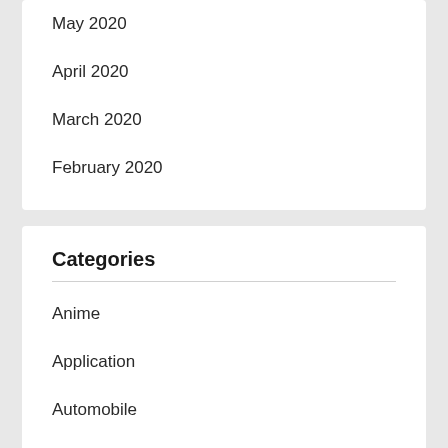May 2020
April 2020
March 2020
February 2020
Categories
Anime
Application
Automobile
Beauty
Bitcoin
Blogging